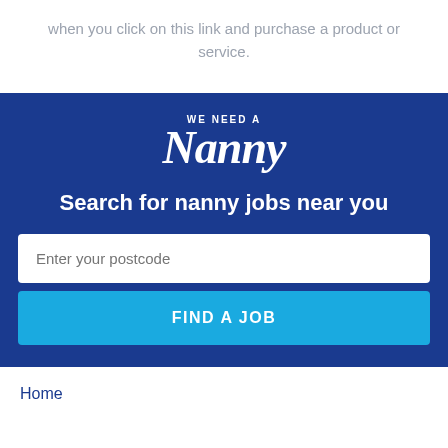when you click on this link and purchase a product or service.
[Figure (logo): We Need A Nanny logo on dark blue background with search input and Find A Job button]
Home